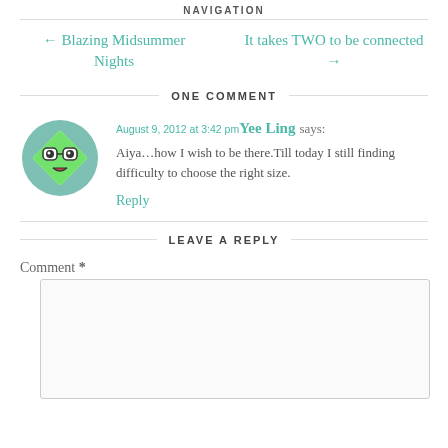NAVIGATION
← Blazing Midsummer Nights    It takes TWO to be connected →
ONE COMMENT
August 9, 2012 at 3:42 pm Yee Ling says:
Aiya…how I wish to be there.Till today I still finding difficulty to choose the right size.
Reply
LEAVE A REPLY
Comment *